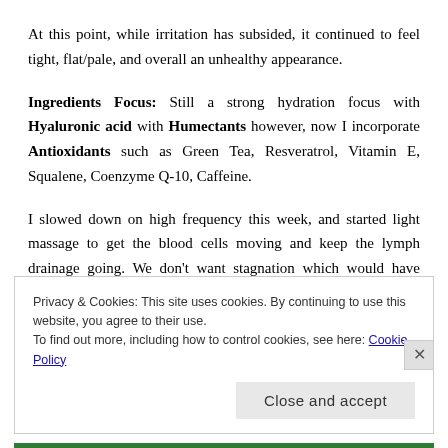At this point, while irritation has subsided, it continued to feel tight, flat/pale, and overall an unhealthy appearance.
Ingredients Focus: Still a strong hydration focus with Hyaluronic acid with Humectants however, now I incorporate Antioxidants such as Green Tea, Resveratrol, Vitamin E, Squalene, Coenzyme Q-10, Caffeine.
I slowed down on high frequency this week, and started light massage to get the blood cells moving and keep the lymph drainage going. We don't want stagnation which would have slowed down the recovery path. While most of the routine remained same, the new additions were around light massage, gentle exfoliation and patting in
Privacy & Cookies: This site uses cookies. By continuing to use this website, you agree to their use.
To find out more, including how to control cookies, see here: Cookie Policy
Close and accept